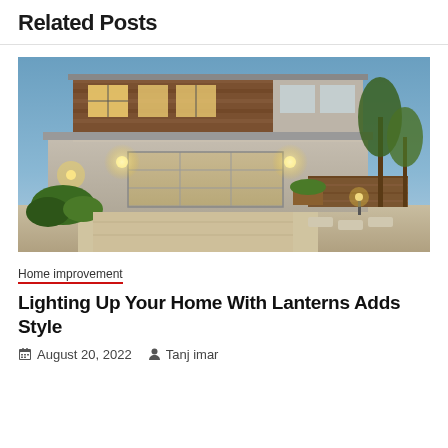Related Posts
[Figure (photo): Modern two-story house exterior at dusk with garage and outdoor lighting, warm glow from windows, landscaping with shrubs and trees]
Home improvement
Lighting Up Your Home With Lanterns Adds Style
August 20, 2022  Tanj imar